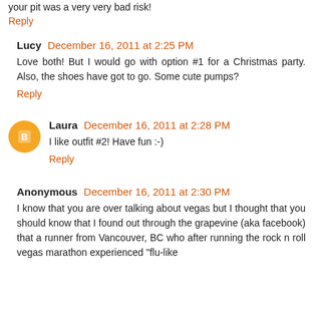your pit was a very very bad risk!
Reply
Lucy  December 16, 2011 at 2:25 PM
Love both! But I would go with option #1 for a Christmas party. Also, the shoes have got to go. Some cute pumps?
Reply
Laura  December 16, 2011 at 2:28 PM
I like outfit #2! Have fun :-)
Reply
Anonymous  December 16, 2011 at 2:30 PM
I know that you are over talking about vegas but I thought that you should know that I found out through the grapevine (aka facebook) that a runner from Vancouver, BC who after running the rock n roll vegas marathon experienced "flu-like